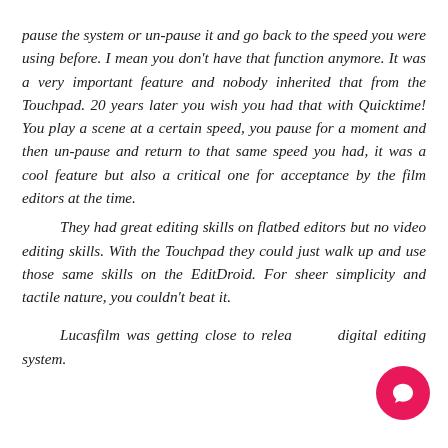pause the system or un-pause it and go back to the speed you were using before. I mean you don't have that function anymore. It was a very important feature and nobody inherited that from the Touchpad. 20 years later you wish you had that with Quicktime! You play a scene at a certain speed, you pause for a moment and then un-pause and return to that same speed you had, it was a cool feature but also a critical one for acceptance by the film editors at the time. They had great editing skills on flatbed editors but no video editing skills. With the Touchpad they could just walk up and use those same skills on the EditDroid. For sheer simplicity and tactile nature, you couldn't beat it. Lucasfilm was getting close to releasing a digital editing system.